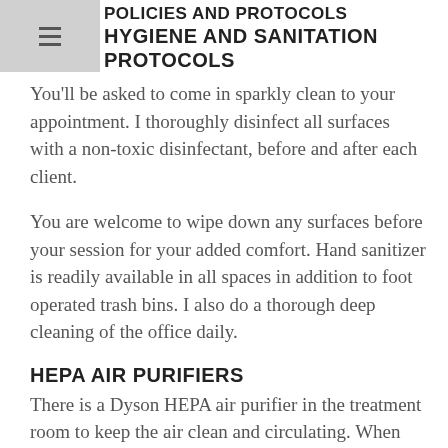POLICIES AND PROTOCOLS
HYGIENE AND SANITATION PROTOCOLS
You'll be asked to come in sparkly clean to your appointment.  I thoroughly disinfect all surfaces with a non-toxic disinfectant, before and after each client.
You are welcome to wipe down any surfaces before your session for your added comfort.  Hand sanitizer is readily available in all spaces in addition to foot operated trash bins.  I also do a thorough deep cleaning of the office daily.
HEPA AIR PURIFIERS
There is a Dyson HEPA air purifier in the treatment room to keep the air clean and circulating.  When possible, I open the windows between clients for additional ventilation.